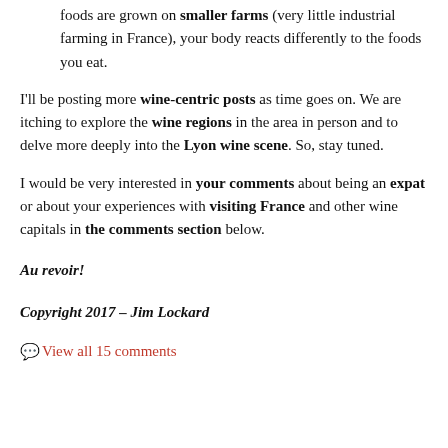foods are grown on smaller farms (very little industrial farming in France), your body reacts differently to the foods you eat.
I'll be posting more wine-centric posts as time goes on. We are itching to explore the wine regions in the area in person and to delve more deeply into the Lyon wine scene. So, stay tuned.
I would be very interested in your comments about being an expat or about your experiences with visiting France and other wine capitals in the comments section below.
Au revoir!
Copyright 2017 – Jim Lockard
View all 15 comments